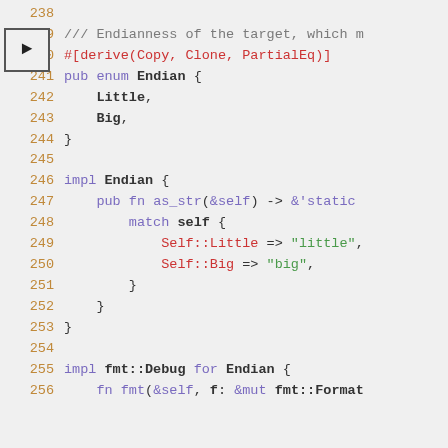[Figure (screenshot): Source code editor showing Rust code for an Endian enum and its impl blocks, lines 238–256, with syntax highlighting and a line 239 arrow indicator.]